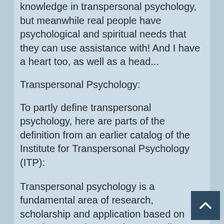knowledge in transpersonal psychology, but meanwhile real people have psychological and spiritual needs that they can use assistance with! And I have a heart too, as well as a head...
Transpersonal Psychology:
To partly define transpersonal psychology, here are parts of the definition from an earlier catalog of the Institute for Transpersonal Psychology (ITP):
Transpersonal psychology is a fundamental area of research, scholarship and application based on people's experiences of temporarily transcending our usual identification